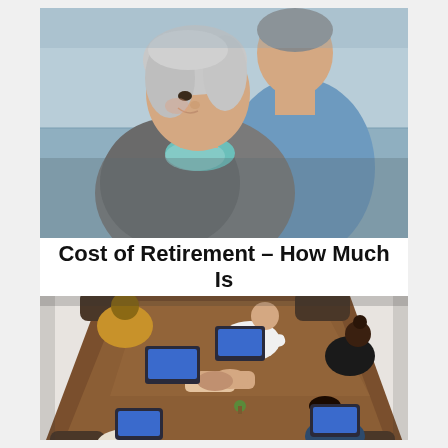[Figure (photo): Elderly couple smiling together outdoors near a body of water. Woman in foreground with grey hair and patterned scarf, man in background wearing a blue shirt.]
Cost of Retirement – How Much Is
[Figure (photo): Overhead aerial view of business meeting around a large wooden table with laptops, tablets, and people shaking hands.]